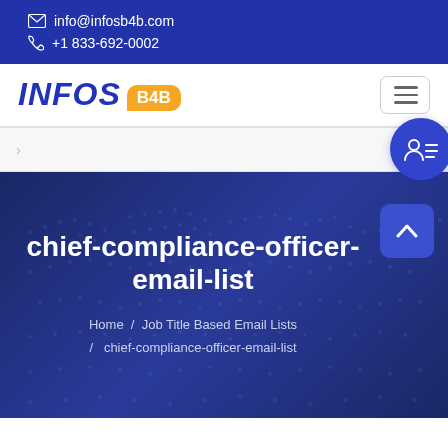info@infosb4b.com  |  +1 833-692-0002
[Figure (logo): INFOS B4B logo with orange speech bubble badge]
chief-compliance-officer-email-list
Home / Job Title Based Email Lists / chief-compliance-officer-email-list